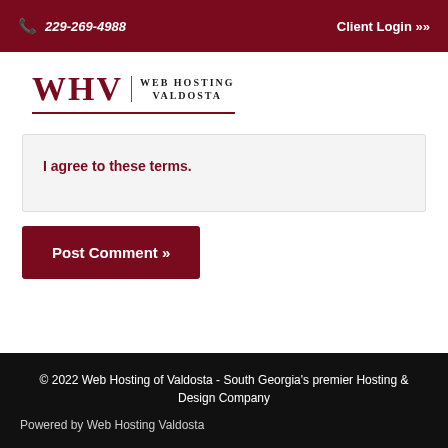229-269-4988   Client Login »»
[Figure (logo): WHV Web Hosting Valdosta logo with dark red serif letters and underline]
I agree to these terms.
Post Comment »
© 2022 Web Hosting of Valdosta - South Georgia's premier Hosting & Design Company
Powered by Web Hosting Valdosta